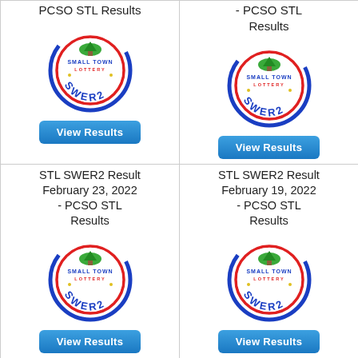PCSO STL Results
- PCSO STL Results
[Figure (logo): STL SWER2 Small Town Lottery logo with blue/red circular design]
[Figure (logo): STL SWER2 Small Town Lottery logo with blue/red circular design]
View Results
View Results
STL SWER2 Result February 23, 2022 - PCSO STL Results
STL SWER2 Result February 19, 2022 - PCSO STL Results
[Figure (logo): STL SWER2 Small Town Lottery logo with blue/red circular design]
[Figure (logo): STL SWER2 Small Town Lottery logo with blue/red circular design]
View Results
View Results